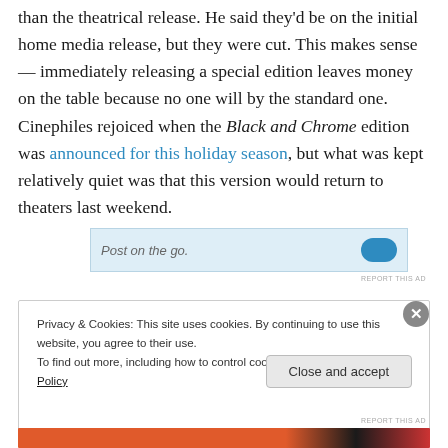than the theatrical release. He said they'd be on the initial home media release, but they were cut. This makes sense — immediately releasing a special edition leaves money on the table because no one will by the standard one. Cinephiles rejoiced when the Black and Chrome edition was announced for this holiday season, but what was kept relatively quiet was that this version would return to theaters last weekend.
[Figure (screenshot): Partial advertisement bar showing 'Post on the go.' text with a blue circular icon on the right, and a 'REPORT THIS AD' link below.]
Privacy & Cookies: This site uses cookies. By continuing to use this website, you agree to their use.
To find out more, including how to control cookies, see here: Cookie Policy
Close and accept